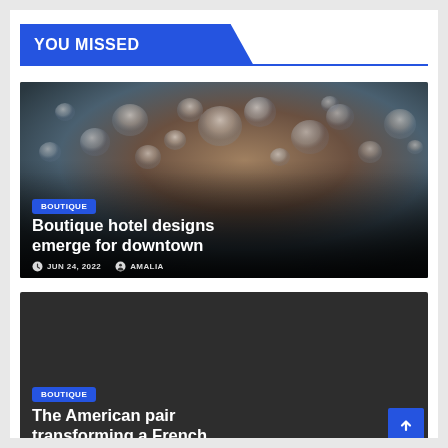YOU MISSED
[Figure (photo): Close-up photograph of water droplets on a dark surface with a leaf or feather, showing detailed macro photography in blue-gray and brown tones. Article: Boutique hotel designs emerge for downtown]
BOUTIQUE
Boutique hotel designs emerge for downtown
JUN 24, 2022   AMALIA
[Figure (photo): Dark charcoal/black background image for article card]
BOUTIQUE
The American pair transforming a French